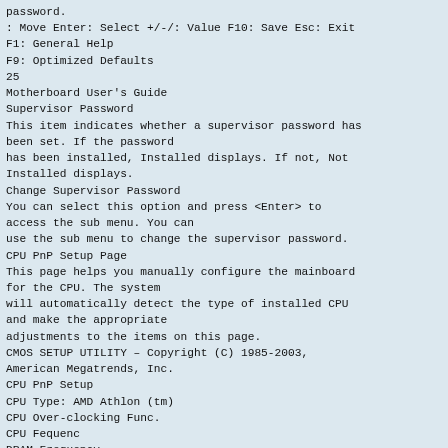password.
: Move Enter: Select +/-/: Value F10: Save Esc: Exit
F1: General Help
F9: Optimized Defaults
25
Motherboard User's Guide
Supervisor Password
This item indicates whether a supervisor password has been set. If the password
has been installed, Installed displays. If not, Not Installed displays.
Change Supervisor Password
You can select this option and press <Enter> to access the sub menu. You can
use the sub menu to change the supervisor password.
CPU PnP Setup Page
This page helps you manually configure the mainboard for the CPU. The system
will automatically detect the type of installed CPU and make the appropriate
adjustments to the items on this page.
CMOS SETUP UTILITY – Copyright (C) 1985-2003,
American Megatrends, Inc.
CPU PnP Setup
CPU Type: AMD Athlon (tm)
CPU Over-clocking Func.
CPU Fequenc
DRAM Frequency
Memory Voltage
5V USB
CPU VID
Voltage Value
64 Processor 3700+